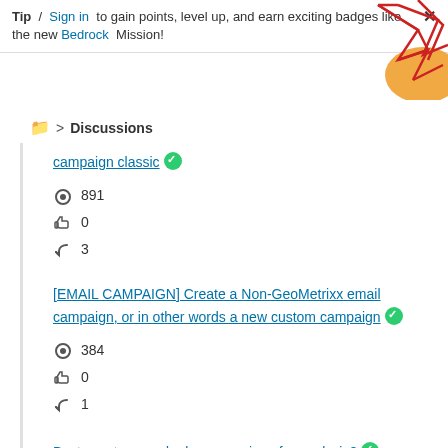Tip / Sign in to gain points, level up, and earn exciting badges like the new Bedrock Mission!
Discussions
campaign classic ✓
👁 891  👍 0  ↩ 3
[EMAIL CAMPAIGN] Create a Non-GeoMetrixx email campaign, or in other words a new custom campaign ✓
👁 384  👍 0  ↩ 1
Best way to record release versions for analysis? ✓
👁 664